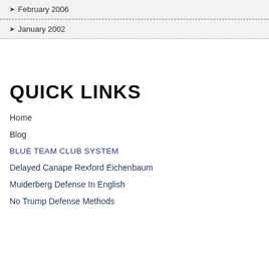February 2006
January 2002
QUICK LINKS
Home
Blog
BLUE TEAM CLUB SYSTEM
Delayed Canape Rexford Eichenbaum
Muiderberg Defense In English
No Trump Defense Methods